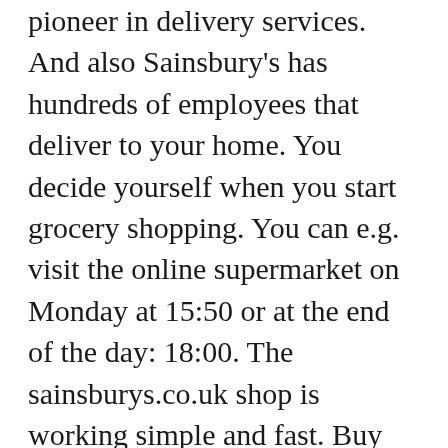pioneer in delivery services. And also Sainsbury's has hundreds of employees that deliver to your home. You decide yourself when you start grocery shopping. You can e.g. visit the online supermarket on Monday at 15:50 or at the end of the day: 18:00. The sainsburys.co.uk shop is working simple and fast. Buy online at e.g. Sainsbury's is really easy. The Sainsbury's deliveries supplies the Waitrose Sleepsuit Hat Grey Elephant 36 Months, Naan Bread or groceries of a-brand such as Chasseur (free) to your home. How does online grocery shopping by sainbury's Bicester works? Check if they deliver to you via sainsburys.co.uk. Currently, this supermarket delivers at about 73% of the customers. Hard-discounters such as Aldi or Lidl will hopefully open a webshop soon so you can also start online grocery shopping in Bicester.